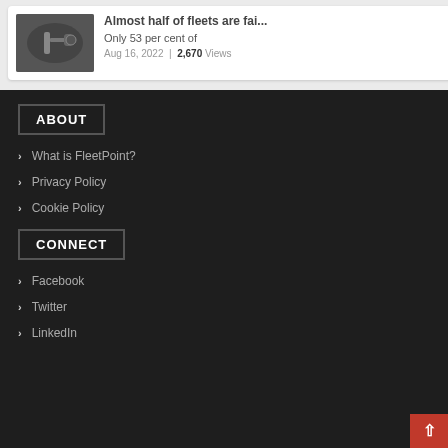[Figure (photo): Person plugging in an electric vehicle charger]
Almost half of fleets are fai...
Only 53 per cent of
Aug 16, 2022 | 2,670 Views
ABOUT
What is FleetPoint?
Privacy Policy
Cookie Policy
CONNECT
Facebook
Twitter
LinkedIn